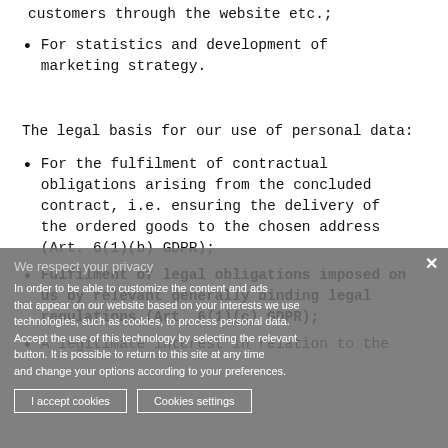customers through the website etc.;
For statistics and development of marketing strategy.
The legal basis for our use of personal data:
For the fulfilment of contractual obligations arising from the concluded contract, i.e. ensuring the delivery of the ordered goods to the chosen address (Art. 6(1)(b) GDPR);
Fulfilment of legal obligations imposed on us by relevant generally binding legal regulations (Art. 6(1)(c) GDPR);
A legitimate interest in relation to the
We respect your privacy
In order to be able to customize the content and ads that appear on our website based on your interests we use technologies, such as cookies, to process personal data. Accept the use of this technology by selecting the relevant button. It is possible to return to this site at any time and change your options according to your preferences.
I accept cookies
Cookies settings